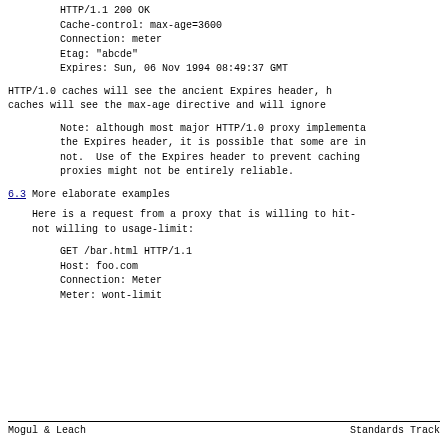HTTP/1.1 200 OK
Cache-control: max-age=3600
Connection: meter
Etag: "abcde"
Expires: Sun, 06 Nov 1994 08:49:37 GMT
HTTP/1.0 caches will see the ancient Expires header, HTTP/1.1 caches will see the max-age directive and will ignore
Note: although most major HTTP/1.0 proxy implementa- tions understand the Expires header, it is possible that some are in- compatible; if not.  Use of the Expires header to prevent caching via these proxies might not be entirely reliable.
6.3 More elaborate examples
Here is a request from a proxy that is willing to hit- meter but not willing to usage-limit:
GET /bar.html HTTP/1.1
Host: foo.com
Connection: Meter
Meter: wont-limit
Mogul & Leach                    Standards Track